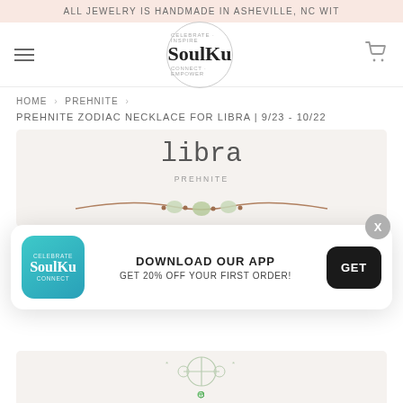ALL JEWELRY IS HANDMADE IN ASHEVILLE, NC WIT
[Figure (logo): SoulKu brand logo with circular text 'CELEBRATE · INSPIRE · CONNECT · EMPOWER' around the brand name 'SoulKu']
HOME › PREHNITE ›
PREHNITE ZODIAC NECKLACE FOR LIBRA | 9/23 - 10/22
[Figure (photo): Product photo showing a necklace with prehnite stones on a cord, with the word 'libra' in typewriter font above and 'PREHNITE' below in uppercase, on a light beige background]
[Figure (infographic): App download popup overlay: SoulKu app logo on left, text 'DOWNLOAD OUR APP / GET 20% OFF YOUR FIRST ORDER!' in center, black 'GET' button on right, with X close button at top right]
[Figure (illustration): Partial view of a Libra zodiac illustration in light green/teal tones at the bottom of the page]